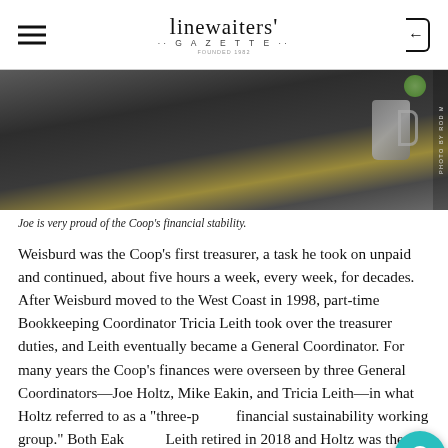Linewaiters' Gazette
[Figure (photo): Person in black long-sleeve shirt sitting at a desk with papers and a travel mug, seen from the torso down. Photo credit: PHOTO BY ROD M]
Joe is very proud of the Coop's financial stability.
Weisburd was the Coop's first treasurer, a task he took on unpaid and continued, about five hours a week, every week, for decades. After Weisburd moved to the West Coast in 1998, part-time Bookkeeping Coordinator Tricia Leith took over the treasurer duties, and Leith eventually became a General Coordinator. For many years the Coop's finances were overseen by three General Coordinators—Joe Holtz, Mike Eakin, and Tricia Leith—in what Holtz referred to as a "three-person financial sustainability working group." Both Eakin and Leith retired in 2018 and Holtz was then elected